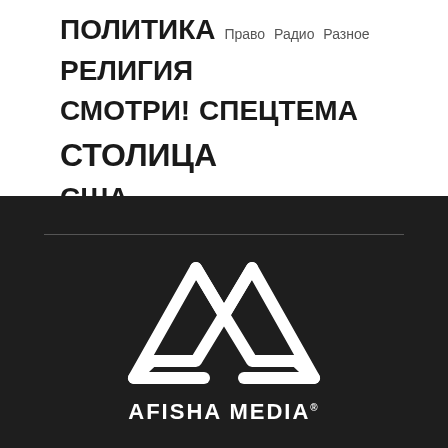ПОЛИТИКА Право Радио Разное РЕЛИГИЯ СМОТРИ! СПЕЦТЕМА СТОЛИЦА США Центр помощи
[Figure (logo): Afisha Media logo — white stylized double mountain / infinity letter M mark on dark background, with text AFISHA MEDIA® below]